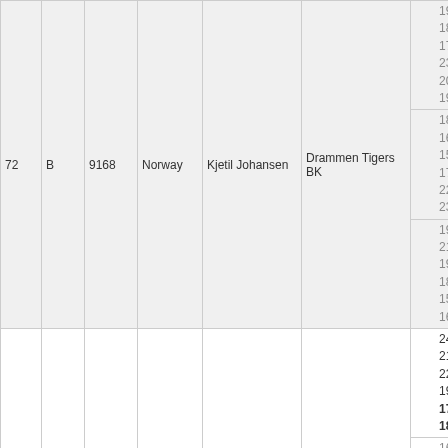| # | Class | ID | Nat | Name | Club | Pins | Total |
| --- | --- | --- | --- | --- | --- | --- | --- |
| 72 | B | 9168 | Norway | Kjetil Johansen | Drammen Tigers BK | 190
189
176
233
204
194 | 1186 |
|  |  |  |  |  |  | 185
166
159
173
221
237 | 1141 |
|  |  |  |  |  |  | 193
214
195
189
150
169 | 1110 |
| 73 | A-jr | 24449 | Norway | Alexander Beck | Solør BK | 244
218
227
195
173
182 | 1239 |
|  |  |  |  |  |  | 166
159
199
191
163
190 | 1068 |
|  |  |  |  |  |  | 187
205
183
130
151
190 | 1046 |